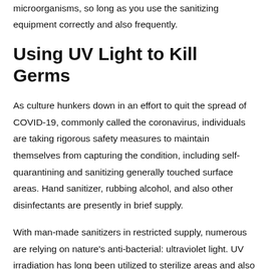microorganisms, so long as you use the sanitizing equipment correctly and also frequently.
Using UV Light to Kill Germs
As culture hunkers down in an effort to quit the spread of COVID-19, commonly called the coronavirus, individuals are taking rigorous safety measures to maintain themselves from capturing the condition, including self-quarantining and sanitizing generally touched surface areas. Hand sanitizer, rubbing alcohol, and also other disinfectants are presently in brief supply.
With man-made sanitizers in restricted supply, numerous are relying on nature’s anti-bacterial: ultraviolet light. UV irradiation has long been utilized to sterilize areas and also things, so it makes good sense to ask yourself: Can UV light